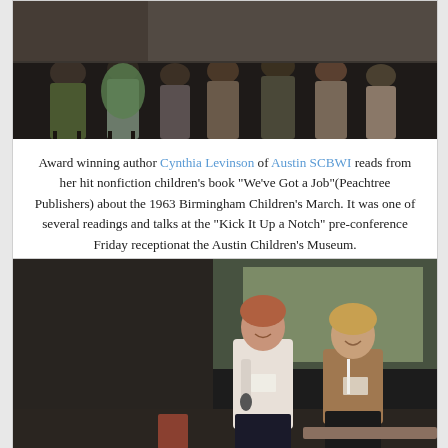[Figure (photo): Audience sitting in chairs at an indoor event, viewed from the front of a room. People are seated listening to a presentation.]
Award winning author Cynthia Levinson of Austin SCBWI reads from her hit nonfiction children’s book “We’ve Got a Job”(Peachtree Publishers) about the 1963 Birmingham Children’s March. It was one of several readings and talks at the “Kick It Up a Notch” pre-conference Friday receptionat the Austin Children’s Museum.
[Figure (photo): Two women standing at the front of a conference room. One holds a microphone and smiles, the other stands beside her. A projection screen is visible in the background.]